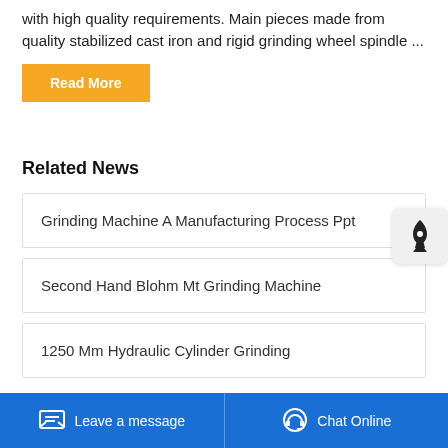with high quality requirements. Main pieces made from quality stabilized cast iron and rigid grinding wheel spindle ...
Read More
Related News
Grinding Machine A Manufacturing Process Ppt
Second Hand Blohm Mt Grinding Machine
1250 Mm Hydraulic Cylinder Grinding
Leave a message   Chat Online